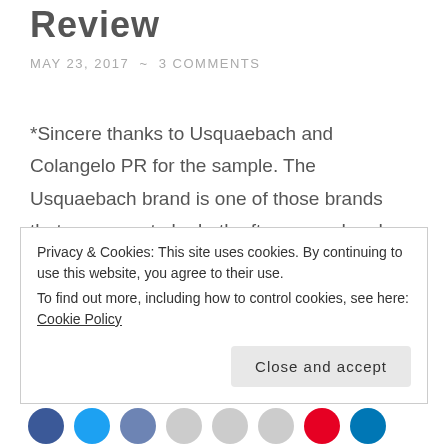Review
MAY 23, 2017 ~ 3 COMMENTS
*Sincere thanks to Usquaebach and Colangelo PR for the sample. The Usquaebach brand is one of those brands that manages to be both oft-seen and under-the-radar at the same time. Their white and tan stoneware flagon-ed Old Rare Blended Whisky is a rather familiar sight on store shelves, but you just don't hear much about … Continue reading
Privacy & Cookies: This site uses cookies. By continuing to use this website, you agree to their use.
To find out more, including how to control cookies, see here: Cookie Policy
Close and accept